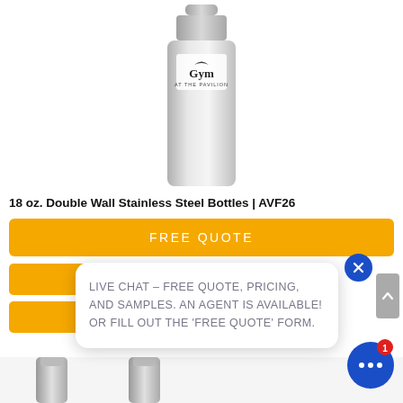[Figure (photo): Stainless steel water bottle with 'Gym at the Pavilion' logo on white background]
18 oz. Double Wall Stainless Steel Bottles | AVF26
[Figure (screenshot): Orange 'FREE QUOTE' button followed by two orange bars, with a live chat popup overlay showing text: 'LIVE CHAT – FREE QUOTE, PRICING, AND SAMPLES. AN AGENT IS AVAILABLE! OR FILL OUT THE FREE QUOTE FORM.' A close X button and chat widget with notification badge are visible.]
[Figure (photo): Bottom portion showing additional stainless steel bottle product images]